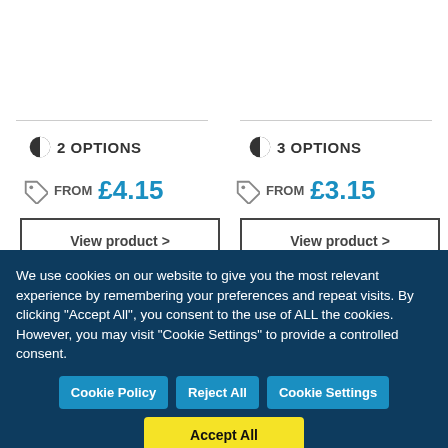2 OPTIONS
FROM £4.15
View product >
3 OPTIONS
FROM £3.15
View product >
[Figure (photo): Bronze/gold medal with ribbon partially visible at bottom left]
We use cookies on our website to give you the most relevant experience by remembering your preferences and repeat visits. By clicking "Accept All", you consent to the use of ALL the cookies. However, you may visit "Cookie Settings" to provide a controlled consent.
Cookie Policy
Reject All
Cookie Settings
Accept All